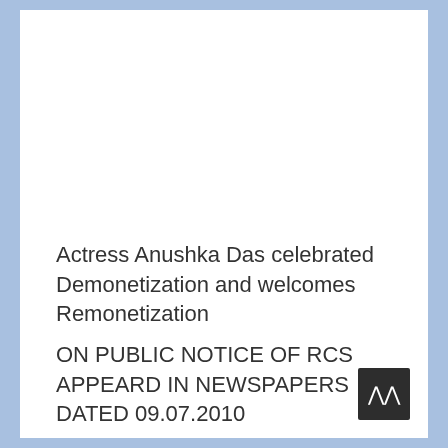Actress Anushka Das celebrated Demonetization and welcomes Remonetization
ON PUBLIC NOTICE OF RCS APPEARD IN NEWSPAPERS DATED 09.07.2010